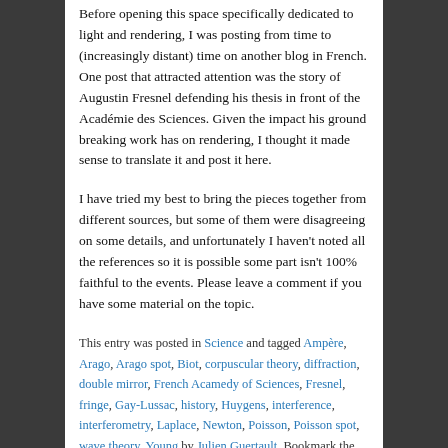Before opening this space specifically dedicated to light and rendering, I was posting from time to (increasingly distant) time on another blog in French. One post that attracted attention was the story of Augustin Fresnel defending his thesis in front of the Académie des Sciences. Given the impact his ground breaking work has on rendering, I thought it made sense to translate it and post it here.
I have tried my best to bring the pieces together from different sources, but some of them were disagreeing on some details, and unfortunately I haven't noted all the references so it is possible some part isn't 100% faithful to the events. Please leave a comment if you have some material on the topic.
This entry was posted in Science and tagged Ampère, Arago, Arago spot, Biot, corpuscular theory, diffraction, double mirror, French Acamedy of Sciences, Fresnel, fringe, Gay-Lussac, history, Huygens, interference, interferometry, Laplace, Newton, Poisson, Poisson spot, wave theory, Young by Julien Guertault. Bookmark the permalink.